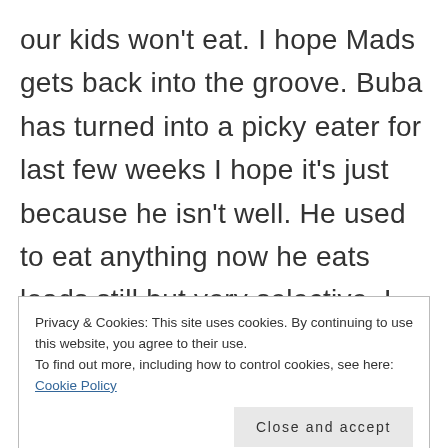our kids won't eat. I hope Mads gets back into the groove. Buba has turned into a picky eater for last few weeks I hope it's just because he isn't well. He used to eat anything now he eats loads still but very selective. I am running out of ideas. Do you think it might just be a phrase for Mads or has she always been not so keen? Thanks for the lovely
Privacy & Cookies: This site uses cookies. By continuing to use this website, you agree to their use.
To find out more, including how to control cookies, see here: Cookie Policy